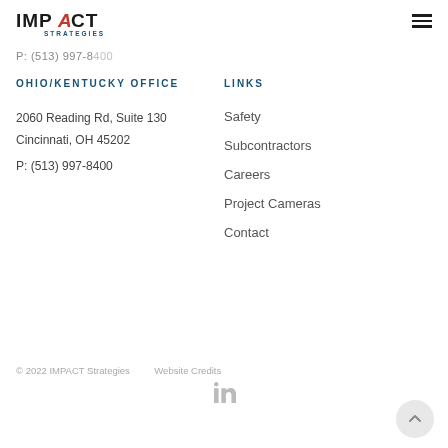IMPACT STRATEGIES
P: (513) 997-8400
OHIO/KENTUCKY OFFICE
LINKS
2060 Reading Rd, Suite 130
Cincinnati, OH 45202
P: (513) 997-8400
Safety
Subcontractors
Careers
Project Cameras
Contact
© 2022 IMPACT Strategies    Website Credits